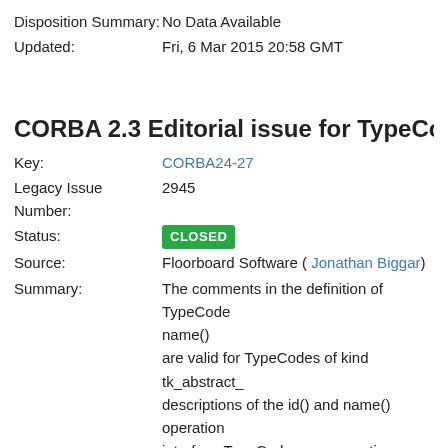Disposition Summary: No Data Available
Updated: Fri, 6 Mar 2015 20:58 GMT
CORBA 2.3 Editorial issue for TypeCodes & abst
Key: CORBA24-27
Legacy Issue Number: 2945
Status: CLOSED
Source: Floorboard Software ( Jonathan Biggar)
Summary: The comments in the definition of TypeCode name() are valid for TypeCodes of kind tk_abstract_ descriptions of the id() and name() operation interface TypeCodes as supporting these op
Reported: CORBA 2.3.1 — Thu, 21 Oct 1999 04:00 GM
Disposition: Resolved — CORBA 2.4
Disposition Summary: No Data Available